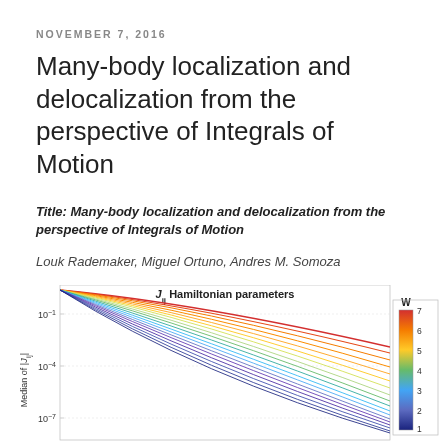NOVEMBER 7, 2016
Many-body localization and delocalization from the perspective of Integrals of Motion
Title: Many-body localization and delocalization from the perspective of Integrals of Motion
Louk Rademaker, Miguel Ortuno, Andres M. Somoza
[Figure (continuous-plot): Log-scale line chart titled 'J_ij Hamiltonian parameters'. Y-axis label: 'Median of |J_ij|', with ticks at 10^-1, 10^-4, 10^-7. Multiple curves fan out from upper-left to lower-right, colored in a rainbow gradient from red (W=7) to blue (W=1), representing different disorder strengths W. A colorbar on the right shows W values from 1 (blue) to 7 (red).]